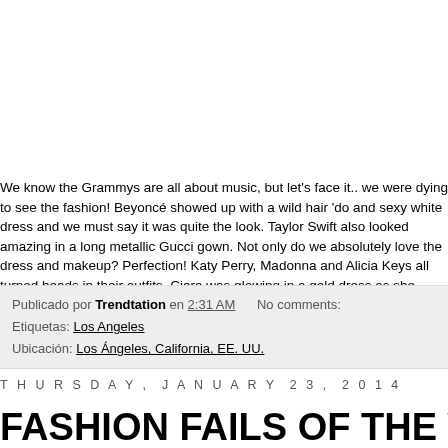We know the Grammys are all about music, but let's face it.. we were dying to see the fashion! Beyoncé showed up with a wild hair 'do and sexy white dress and we must say it was quite the look. Taylor Swift also looked amazing in a long metallic Gucci gown. Not only do we absolutely love the dress and makeup? Perfection! Katy Perry, Madonna and Alicia Keys all turned heads in their outfits. Ciara was glowing in a gold dress as she cradled her baby bump, so cute! Ch
Publicado por Trendtation en 2:31 AM   No comments:
Etiquetas: Los Angeles
Ubicación: Los Ángeles, California, EE. UU.
THURSDAY, JANUARY 23, 2014
FASHION FAILS OF THE WEEK